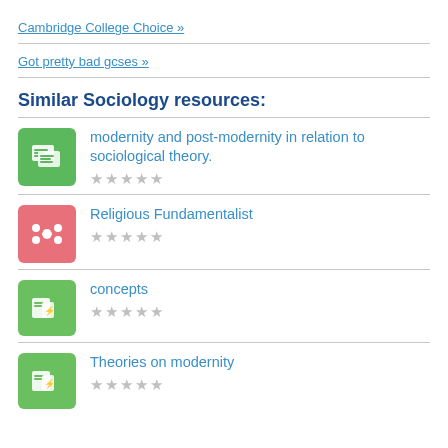Cambridge College Choice »
Got pretty bad gcses »
Similar Sociology resources:
modernity and post-modernity in relation to sociological theory. ★★★★★
Religious Fundamentalist ★★★★★
concepts ★★★★★
Theories on modernity ★★★★★